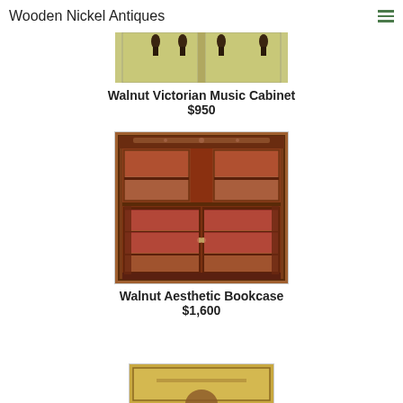Wooden Nickel Antiques
[Figure (photo): Partial view of a Walnut Victorian Music Cabinet with light yellow-green painted doors and dark hardware hooks at the top]
Walnut Victorian Music Cabinet
$950
[Figure (photo): Walnut Aesthetic Bookcase — a dark walnut bookcase with glass doors, red/pink interior shelving, decorative carved top, and ornate brass hardware]
Walnut Aesthetic Bookcase
$1,600
[Figure (photo): Partial view of a third antique furniture item at the bottom of the page, partially cut off]